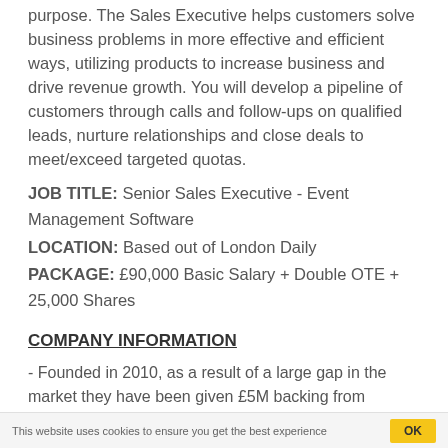purpose. The Sales Executive helps customers solve business problems in more effective and efficient ways, utilizing products to increase business and drive revenue growth. You will develop a pipeline of customers through calls and follow-ups on qualified leads, nurture relationships and close deals to meet/exceed targeted quotas.
JOB TITLE: Senior Sales Executive - Event Management Software
LOCATION: Based out of London Daily
PACKAGE: £90,000 Basic Salary + Double OTE + 25,000 Shares
COMPANY INFORMATION
- Founded in 2010, as a result of a large gap in the market they have been given £5M backing from investors
- Senior Leadership team based out of San Francisco wants
This website uses cookies to ensure you get the best experience